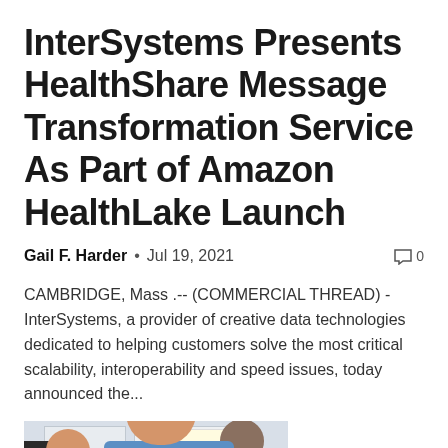InterSystems Presents HealthShare Message Transformation Service As Part of Amazon HealthLake Launch
Gail F. Harder  •  Jul 19, 2021  🗨 0
CAMBRIDGE, Mass .-- (COMMERCIAL THREAD) -InterSystems, a provider of creative data technologies dedicated to helping customers solve the most critical scalability, interoperability and speed issues, today announced the...
[Figure (photo): Photo of a person wearing a white VR headset (likely Oculus Quest) in a blue shirt, with another person in a yellow shirt beside them in an office/lab setting with drop ceiling tiles.]